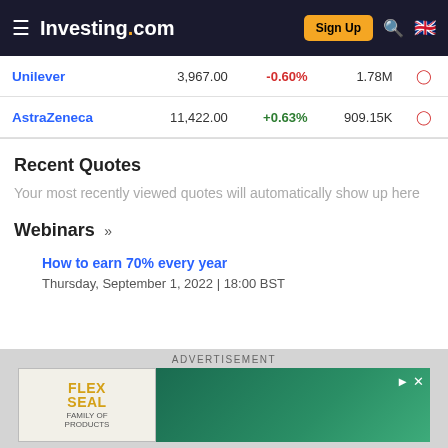Investing.com | Sign Up
| Name | Price | Change% | Volume |  |
| --- | --- | --- | --- | --- |
| Unilever | 3,967.00 | -0.60% | 1.78M |  |
| AstraZeneca | 11,422.00 | +0.63% | 909.15K |  |
Recent Quotes
Your most recently viewed quotes will automatically show up here
Webinars »
How to earn 70% every year
Thursday, September 1, 2022 | 18:00 BST
ADVERTISEMENT